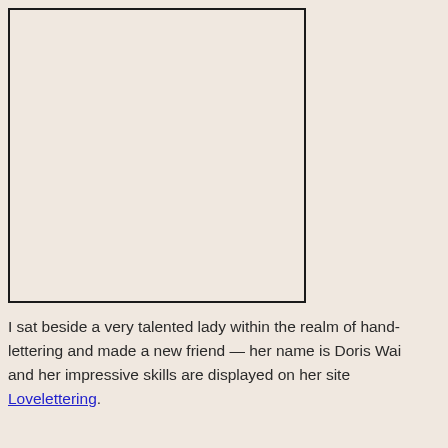[Figure (illustration): A blank/empty rectangular box with a dark border on a beige/cream background, serving as a placeholder image.]
I sat beside a very talented lady within the realm of hand-lettering and made a new friend — her name is Doris Wai and her impressive skills are displayed on her site Lovelettering.